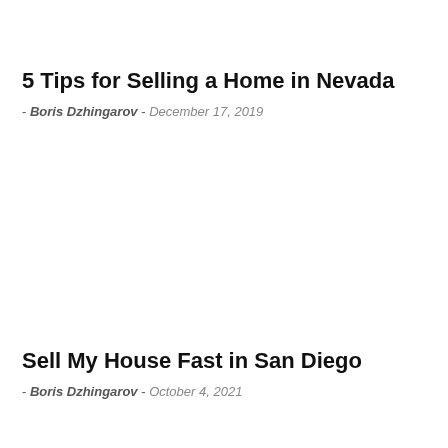5 Tips for Selling a Home in Nevada
- Boris Dzhingarov  -  December 17, 2019
Sell My House Fast in San Diego
- Boris Dzhingarov  -  October 4, 2021